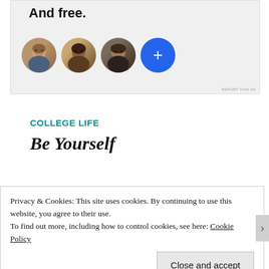[Figure (screenshot): Advertisement banner with bold text 'And free.' and four circular profile avatars (three people, one blue plus button)]
COLLEGE LIFE
Be Yourself
Privacy & Cookies: This site uses cookies. By continuing to use this website, you agree to their use.
To find out more, including how to control cookies, see here: Cookie Policy
Close and accept